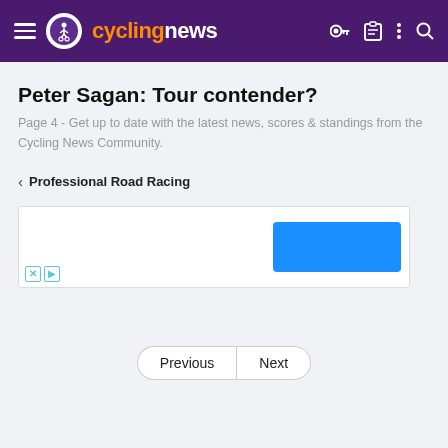cyclingnews
Peter Sagan: Tour contender?
Page 4 - Get up to date with the latest news, scores & standings from the Cycling News Community.
< Professional Road Racing
[Figure (other): Advertisement box with a blue rectangular block and small X and play icons in the bottom left corner]
Previous  Next